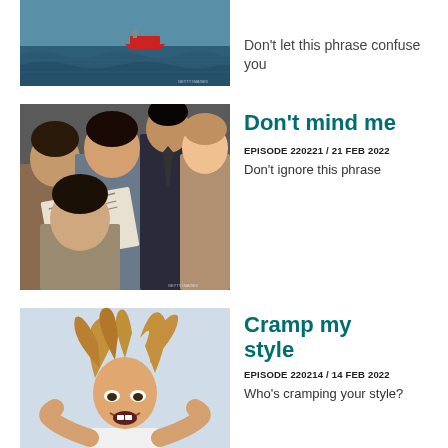[Figure (photo): Aerial view of a red boat on dark ocean water]
Don't let this phrase confuse you
[Figure (photo): Group of people on a commuter train reading newspapers]
Don't mind me
EPISODE 220221 / 21 FEB 2022
Don't ignore this phrase
[Figure (photo): Woman with wild hair looking frustrated at a laptop]
Cramp my style
EPISODE 220214 / 14 FEB 2022
Who's cramping your style?
[Figure (photo): Young woman with surprised expression against yellow background]
You couldn't make it up